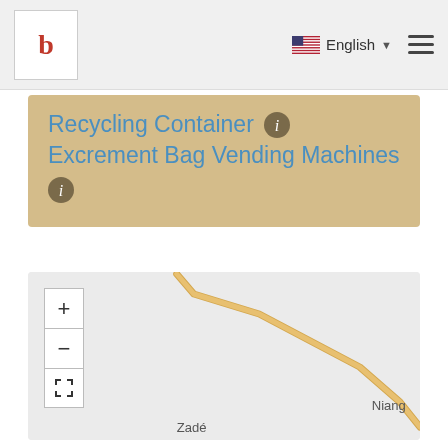[Figure (screenshot): Navigation bar with logo, English language selector with US flag, and hamburger menu]
Recycling Container  Excrement Bag Vending Machines
[Figure (map): Map showing a road running diagonally from upper-left to lower-right, with place names Niango and Zadé visible. Map controls: zoom in (+), zoom out (-), and fit-to-screen buttons.]